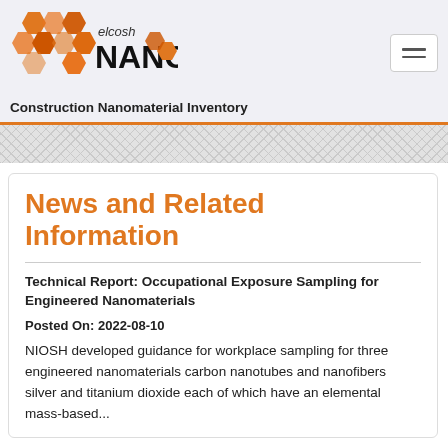[Figure (logo): elcosh NANO hexagon honeycomb logo with orange hexagons and black text]
Construction Nanomaterial Inventory
News and Related Information
Technical Report: Occupational Exposure Sampling for Engineered Nanomaterials
Posted On: 2022-08-10
NIOSH developed guidance for workplace sampling for three engineered nanomaterials carbon nanotubes and nanofibers silver and titanium dioxide each of which have an elemental mass-based...